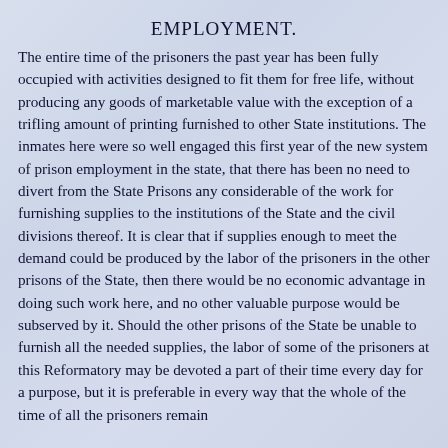EMPLOYMENT.
The entire time of the prisoners the past year has been fully occupied with activities designed to fit them for free life, without producing any goods of marketable value with the exception of a trifling amount of printing furnished to other State institutions. The inmates here were so well engaged this first year of the new system of prison employment in the state, that there has been no need to divert from the State Prisons any considerable of the work for furnishing supplies to the institutions of the State and the civil divisions thereof. It is clear that if supplies enough to meet the demand could be produced by the labor of the prisoners in the other prisons of the State, then there would be no economic advantage in doing such work here, and no other valuable purpose would be subserved by it. Should the other prisons of the State be unable to furnish all the needed supplies, the labor of some of the prisoners at this Reformatory may be devoted a part of their time every day for a purpose, but it is preferable in every way that the whole of the time of all the prisoners remain